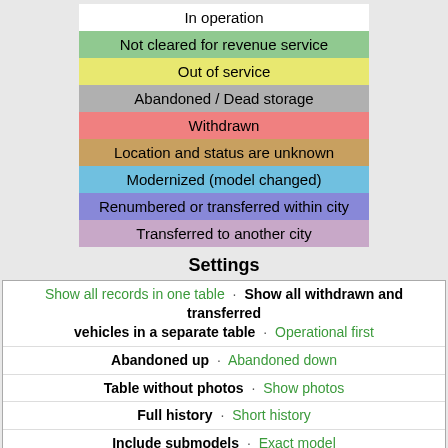| In operation |
| Not cleared for revenue service |
| Out of service |
| Abandoned / Dead storage |
| Withdrawn |
| Location and status are unknown |
| Modernized (model changed) |
| Renumbered or transferred within city |
| Transferred to another city |
Settings
Show all records in one table · Show all withdrawn and transferred vehicles in a separate table · Operational first
Abandoned up · Abandoned down
Table without photos · Show photos
Full history · Short history
Include submodels · Exact model
Show chassis model · Hide chassis model
Show in the list: Serial number · VIN · Chassis #